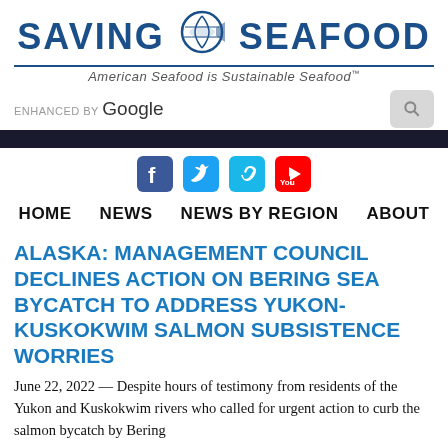[Figure (logo): Saving Seafood logo with fish/shell icon and tagline 'American Seafood is Sustainable Seafood']
ENHANCED BY Google [search box]
[Figure (infographic): Social media icons: Facebook, Twitter, Vimeo, YouTube]
HOME  NEWS  NEWS BY REGION  ABOUT
ALASKA: MANAGEMENT COUNCIL DECLINES ACTION ON BERING SEA BYCATCH TO ADDRESS YUKON-KUSKOKWIM SALMON SUBSISTENCE WORRIES
June 22, 2022 — Despite hours of testimony from residents of the Yukon and Kuskokwim rivers who called for urgent action to curb the salmon bycatch by Bering